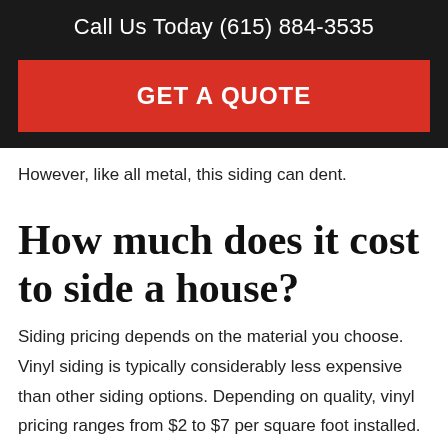Call Us Today (615) 884-3535
GET A QUOTE
However, like all metal, this siding can dent.
How much does it cost to side a house?
Siding pricing depends on the material you choose. Vinyl siding is typically considerably less expensive than other siding options. Depending on quality, vinyl pricing ranges from $2 to $7 per square foot installed.